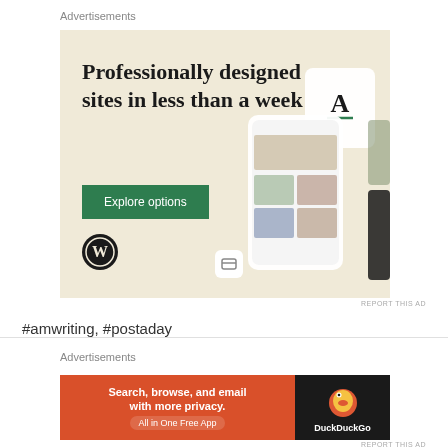Advertisements
[Figure (screenshot): WordPress advertisement banner with beige background. Large serif text reads 'Professionally designed sites in less than a week'. Green button with text 'Explore options'. WordPress logo bottom left. Mockup of website screens on the right side.]
REPORT THIS AD
#amwriting, #postaday
Advertisements
[Figure (screenshot): DuckDuckGo advertisement banner. Left orange/red section with white text 'Search, browse, and email with more privacy.' and 'All in One Free App'. Right dark section with DuckDuckGo duck logo and 'DuckDuckGo' text.]
REPORT THIS AD